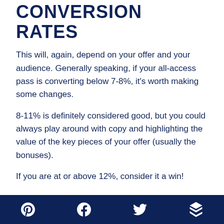CONVERSION RATES
This will, again, depend on your offer and your audience. Generally speaking, if your all-access pass is converting below 7-8%, it's worth making some changes.
8-11% is definitely considered good, but you could always play around with copy and highlighting the value of the key pieces of your offer (usually the bonuses).
If you are at or above 12%, consider it a win!
COMMUNITY
Social icons: Pinterest, Facebook, Twitter, Buffer